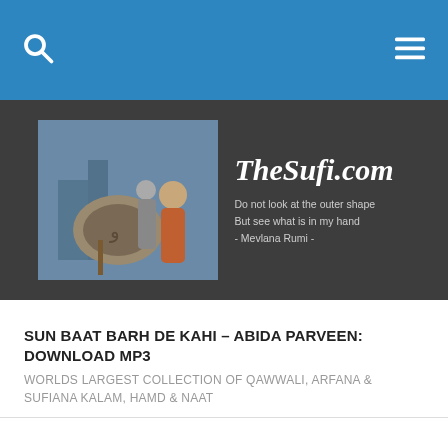[Figure (screenshot): Website header navigation bar with blue background, search icon on left, hamburger menu icon on right]
[Figure (photo): TheSufi.com website banner: photo of a stone carving and robed figures, with site name in italic script and Mevlana Rumi quote: 'Do not look at the outer shape But see what is in my hand - Mevlana Rumi -']
SUN BAAT BARH DE KAHI – ABIDA PARVEEN: DOWNLOAD MP3
WORLDS LARGEST COLLECTION OF QAWWALI, ARFANA & SUFIANA KALAM, HAMD & NAAT